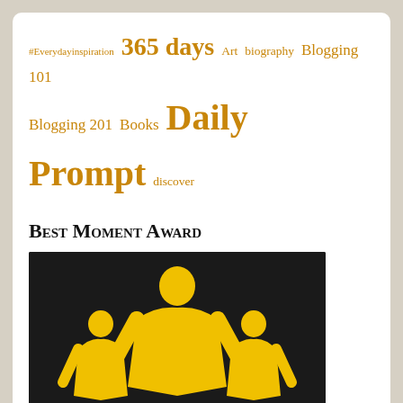[Figure (other): Tag cloud with blogging-related terms in golden/amber color on white background. Terms include: #Everydayinspiration, 365 days, Art, biography, Blogging 101, Blogging 201, Books, Daily Prompt, discover prompts, Everyday Inspiration, fiction, five sentence fiction, intropoetry, limerick, me, merriment, Mind and life matters limerick challenge Week 20, Music, NaBloPoMo, Poetry, school, song, speakeasy, story, Travel, Uncategorized, writing, Writing 101, writing 201: poetry, writing intro to poetry]
Best Moment Award
[Figure (illustration): Black background image with three yellow stylized human figures, the central larger figure flanked by two smaller ones, resembling an award or trophy logo.]